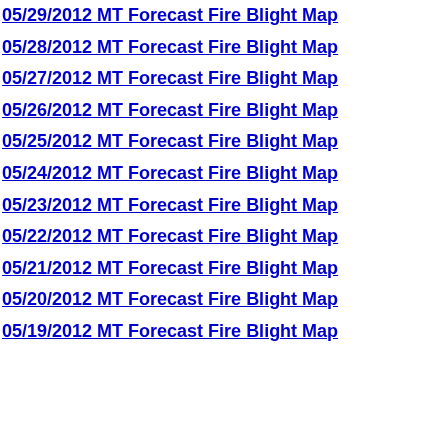05/29/2012 MT Forecast Fire Blight Map
05/28/2012 MT Forecast Fire Blight Map
05/27/2012 MT Forecast Fire Blight Map
05/26/2012 MT Forecast Fire Blight Map
05/25/2012 MT Forecast Fire Blight Map
05/24/2012 MT Forecast Fire Blight Map
05/23/2012 MT Forecast Fire Blight Map
05/22/2012 MT Forecast Fire Blight Map
05/21/2012 MT Forecast Fire Blight Map
05/20/2012 MT Forecast Fire Blight Map
05/19/2012 MT Forecast Fire Blight Map